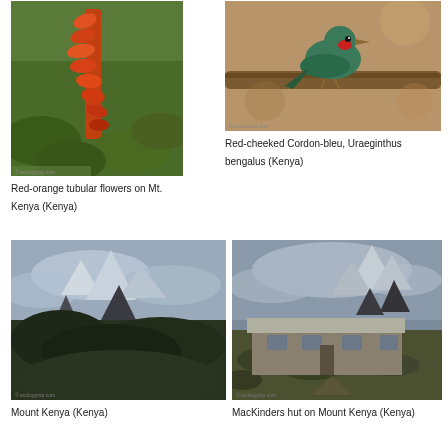[Figure (photo): Red-orange tubular flowers on a tall spike against green vegetation on Mt. Kenya]
Red-orange tubular flowers on Mt. Kenya (Kenya)
[Figure (photo): Red-cheeked Cordon-bleu bird perched on a branch, close-up shot]
Red-cheeked Cordon-bleu, Uraeginthus bengalus (Kenya)
[Figure (photo): Mount Kenya landscape with dramatic rocky peaks and dark forested valley under cloudy sky]
Mount Kenya (Kenya)
[Figure (photo): MacKinders hut building on Mount Kenya with rocky peaks in background under cloudy sky]
MacKinders hut on Mount Kenya (Kenya)